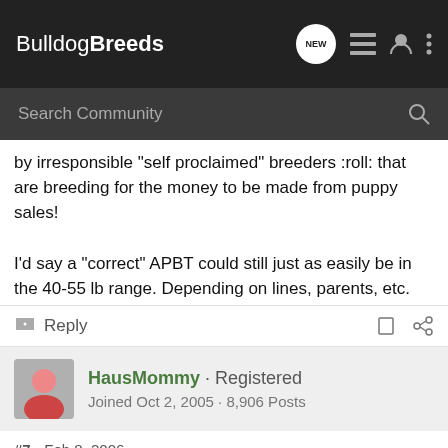BulldogBreeds
by irresponsible "self proclaimed" breeders :roll: that are breeding for the money to be made from puppy sales!

I'd say a "correct" APBT could still just as easily be in the 40-55 lb range. Depending on lines, parents, etc.
Reply
HausMommy · Registered
Joined Oct 2, 2005 · 8,906 Posts
#7 • Feb 8, 2006
Boda,
Here is a site that should help: